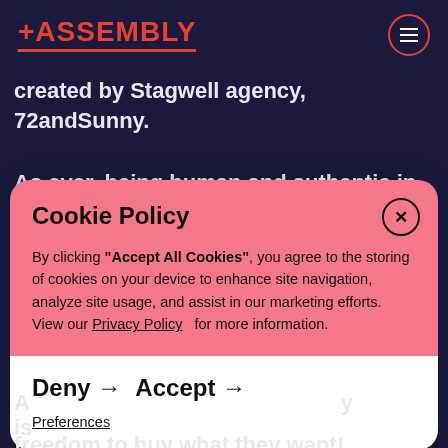+ASSEMBLY
created by Stagwell agency, 72andSunny.
As ever, being human and authentic in b...
Cookie Policy
By clicking "Accept All Cookies", you agree to the storing of cookies on your device to enhance site navigation, analyze site usage, and assist in our marketing efforts. View our Privacy Policy   for more information.
Deny → Accept →
Preferences
freedom to buy what they want!